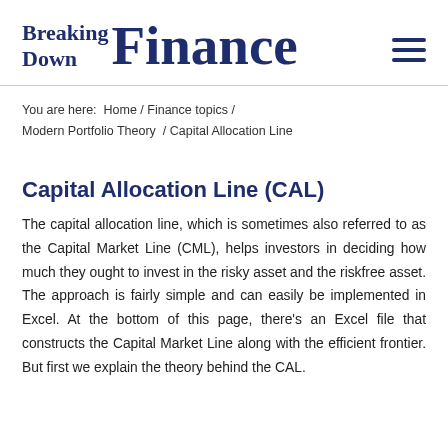Breaking Down Finance
You are here:  Home / Finance topics / Modern Portfolio Theory  / Capital Allocation Line
Capital Allocation Line (CAL)
The capital allocation line, which is sometimes also referred to as the Capital Market Line (CML), helps investors in deciding how much they ought to invest in the risky asset and the riskfree asset. The approach is fairly simple and can easily be implemented in Excel. At the bottom of this page, there’s an Excel file that constructs the Capital Market Line along with the efficient frontier. But first we explain the theory behind the CAL.